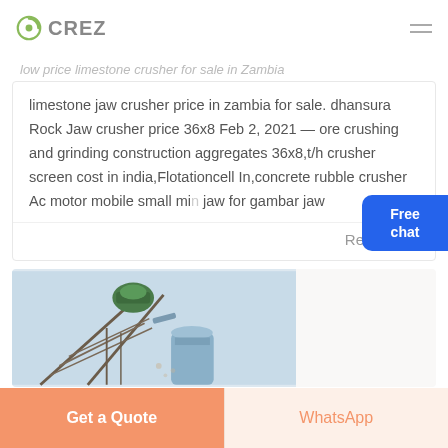CREZ
low price limestone crusher for sale in Zambia
limestone jaw crusher price in zambia for sale. dhansura Rock Jaw crusher price 36x8 Feb 2, 2021 — ore crushing and grinding construction aggregates 36x8,t/h crusher screen cost in india,Flotationcell In,concrete rubble crusher Ac motor mobile small mini jaw for gambar jaw
Read More
[Figure (photo): Industrial mining/crushing machinery on a steel frame structure against a light blue sky background]
Free chat
Get a Quote
WhatsApp